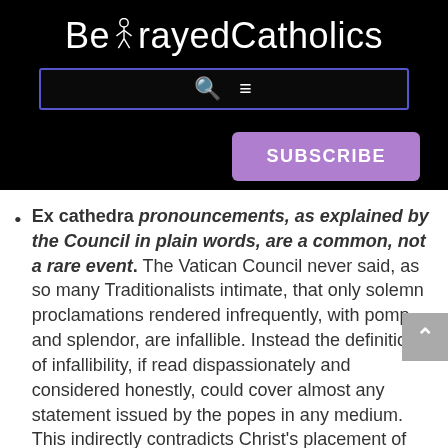BetrayedCatholics
Ex cathedra pronouncements, as explained by the Council in plain words, are a common, not a rare event. The Vatican Council never said, as so many Traditionalists intimate, that only solemn proclamations rendered infrequently, with pomp and splendor, are infallible. Instead the definition of infallibility, if read dispassionately and considered honestly, could cover almost any statement issued by the popes in any medium. This indirectly contradicts Christ's placement of Peter over all the other Apostles and the faithful as